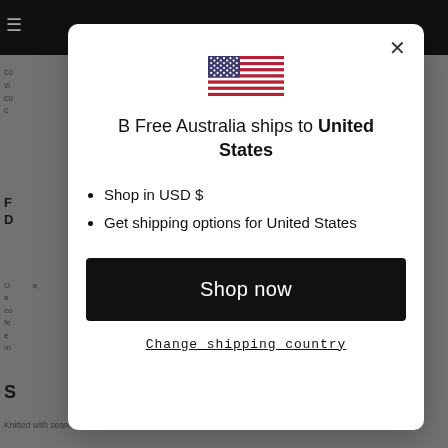[Figure (screenshot): Background webpage with dark top navigation bar, hamburger menu icon, partial body text, bold heading, and bottom text visible behind modal overlay]
[Figure (infographic): Modal dialog box with US flag icon, shipping destination message, bullet list, Shop now button, and Change shipping country link]
B Free Australia ships to United States
Shop in USD $
Get shipping options for United States
Shop now
Change shipping country